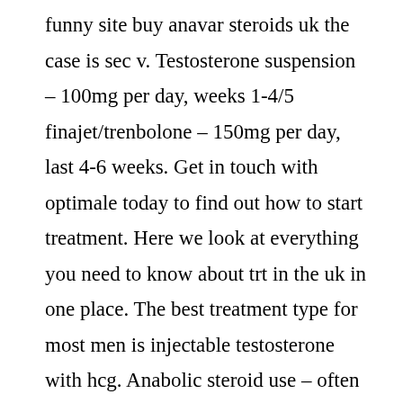funny site buy anavar steroids uk the case is sec v. Testosterone suspension – 100mg per day, weeks 1-4/5 finajet/trenbolone – 150mg per day, last 4-6 weeks. Get in touch with optimale today to find out how to start treatment. Here we look at everything you need to know about trt in the uk in one place. The best treatment type for most men is injectable testosterone with hcg. Anabolic steroid use – often a full recovery of the hpta does not occur after the shutdown of. Parabolan (trenbolone